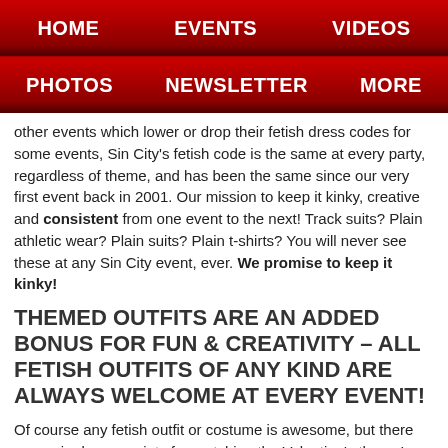HOME   EVENTS   VIDEOS
PHOTOS   NEWSLETTER   MORE
other events which lower or drop their fetish dress codes for some events, Sin City's fetish code is the same at every party, regardless of theme, and has been the same since our very first event back in 2001. Our mission to keep it kinky, creative and consistent from one event to the next! Track suits? Plain athletic wear? Plain suits? Plain t-shirts? You will never see these at any Sin City event, ever. We promise to keep it kinky!
THEMED OUTFITS ARE AN ADDED BONUS FOR FUN & CREATIVITY – ALL FETISH OUTFITS OF ANY KIND ARE ALWAYS WELCOME AT EVERY EVENT!
Of course any fetish outfit or costume is awesome, but there are major bonus points for matching the Valentine's theme!
NO UNAUTHORIZED PHOTOS ALLOWED